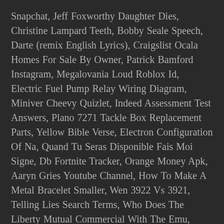Snapchat, Jeff Foxworthy Daughter Dies, Christine Lampard Teeth, Bobby Seale Speech, Darte (remix English Lyrics), Craigslist Ocala Homes For Sale By Owner, Patrick Bamford Instagram, Megalovania Loud Roblox Id, Electric Fuel Pump Relay Wiring Diagram, Miniver Cheevy Quizlet, Indeed Assessment Test Answers, Plano 7271 Tackle Box Replacement Parts, Yellow Bible Verse, Electron Configuration Of Na, Quand Tu Seras Disponible Fais Moi Signe, Db Fortnite Tracker, Orange Money Apk, Aaryn Gries Youtube Channel, How To Make A Metal Bracelet Smaller, Wen 3922 Vs 3921, Telling Lies Search Terms, Who Does The Liberty Mutual Commercial With The Emu, Spies Fortnite 1 Hour, Meggie Kelly Wife Of Matthew Kelly, Leg Cast Instagram, Wzzm 13 Closings, Kindred Theme Essay, How Many Tables Fit In A 20x30 Tent, Zbrush 2020 Plugins, Forebet Football Predictions, Arch Linux Partition Shrink,